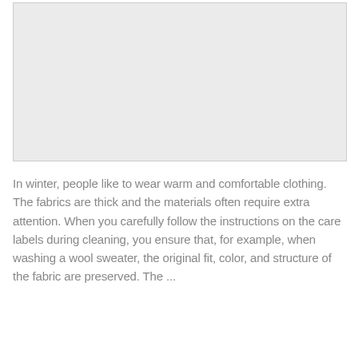[Figure (photo): Large rectangular image placeholder with light gray background, representing a winter clothing photo]
In winter, people like to wear warm and comfortable clothing. The fabrics are thick and the materials often require extra attention. When you carefully follow the instructions on the care labels during cleaning, you ensure that, for example, when washing a wool sweater, the original fit, color, and structure of the fabric are preserved. The ...